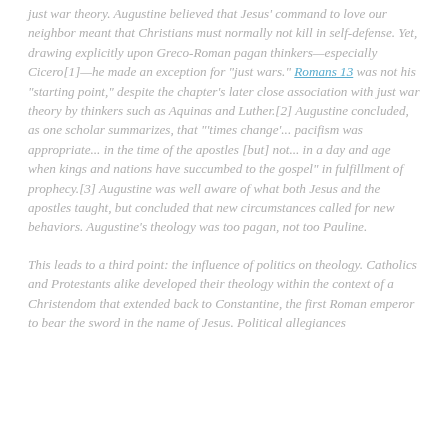just war theory. Augustine believed that Jesus' command to love our neighbor meant that Christians must normally not kill in self-defense. Yet, drawing explicitly upon Greco-Roman pagan thinkers—especially Cicero[1]—he made an exception for "just wars." Romans 13 was not his "starting point," despite the chapter's later close association with just war theory by thinkers such as Aquinas and Luther.[2] Augustine concluded, as one scholar summarizes, that "'times change'... pacifism was appropriate... in the time of the apostles [but] not... in a day and age when kings and nations have succumbed to the gospel" in fulfillment of prophecy.[3] Augustine was well aware of what both Jesus and the apostles taught, but concluded that new circumstances called for new behaviors. Augustine's theology was too pagan, not too Pauline.
This leads to a third point: the influence of politics on theology. Catholics and Protestants alike developed their theology within the context of a Christendom that extended back to Constantine, the first Roman emperor to bear the sword in the name of Jesus. Political allegiances